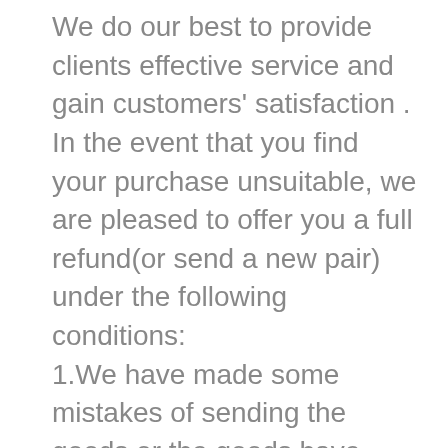We do our best to provide clients effective service and gain customers' satisfaction . In the event that you find your purchase unsuitable, we are pleased to offer you a full refund(or send a new pair) under the following conditions:
1.We have made some mistakes of sending the goods or the goods have some quality problems(not being damaged by any man-made factors),and you don't want to change a new pair but refund. You need return back the product to us. When we received the product and make sure they are non-human factors or non-resistant external damage, we will give you a refund.
2.Our company is committed to providing exceptional customer service and quality products. We endeavor to ensure that all products listed on our website are currently in stock and pricing is true and correct. In the